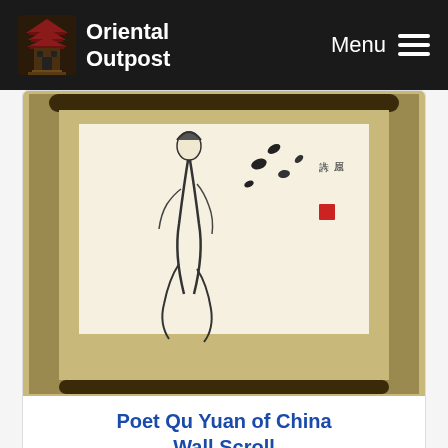Oriental Outpost | Menu
[Figure (photo): Chinese wall scroll painting showing Poet Qu Yuan figure with birds and calligraphy, mounted on a dark wooden roller stand]
Poet Qu Yuan of China Wall Scroll
Gallery Price: $240.00
Your Price: $88.88
More Info
[Figure (photo): Partial view of a second Chinese wall scroll with dark calligraphy/brushwork on tan/gold silk mounting]